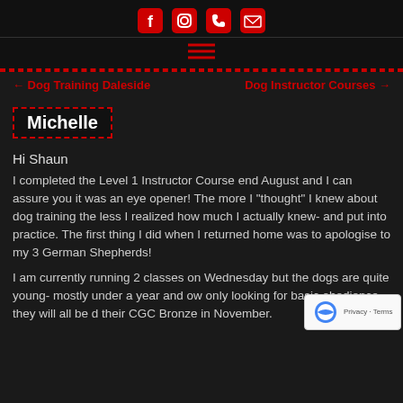[Social media icons: Facebook, Instagram, Phone, Email] [Hamburger menu]
← Dog Training Daleside    Dog Instructor Courses →
Michelle
Hi Shaun
I completed the Level 1 Instructor Course end August and I can assure you it was an eye opener! The more I "thought" I knew about dog training the less I realized how much I actually knew- and put into practice. The first thing I did when I returned home was to apologise to my 3 German Shepherds!
I am currently running 2 classes on Wednesday but the dogs are quite young- mostly under a year and only looking for basic obedience- they will all be doing their CGC Bronze in November.